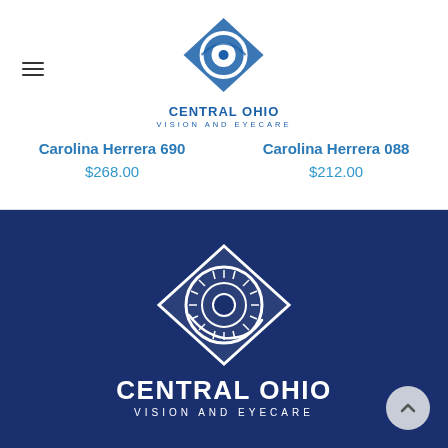Central Ohio Vision and Eyecare (logo/header)
Carolina Herrera 690
$268.00
Carolina Herrera 088
$212.00
[Figure (logo): Central Ohio Vision and Eyecare logo on dark blue background — white diamond shape with stylized eye icon, text CENTRAL OHIO VISION AND EYECARE in white]
Back to top button